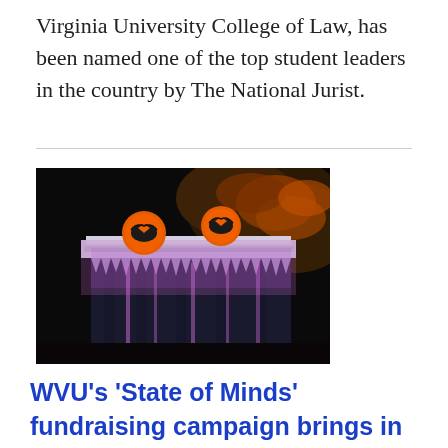Virginia University College of Law, has been named one of the top student leaders in the country by The National Jurist.
[Figure (photo): Night photograph of a building tower/turret illuminated in purple/pink light with orange circular WVU flying WV logo medallions on it, with autumn foliage visible in background against dark sky.]
WVU's 'State of Minds' fundraising campaign brings in more than $1.2